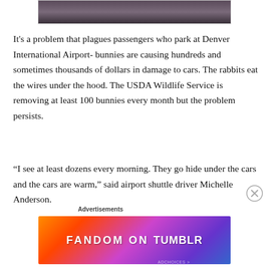[Figure (photo): Partial photo strip visible at the top of the page, dark/stormy sky background]
It's a problem that plagues passengers who park at Denver International Airport- bunnies are causing hundreds and sometimes thousands of dollars in damage to cars. The rabbits eat the wires under the hood. The USDA Wildlife Service is removing at least 100 bunnies every month but the problem persists.
“I see at least dozens every morning. They go hide under the cars and the cars are warm,” said airport shuttle driver Michelle Anderson.
Advertisements
[Figure (other): Tumblr advertisement banner: FANDOM ON tumblr, colorful gradient background with orange, pink, purple, blue]